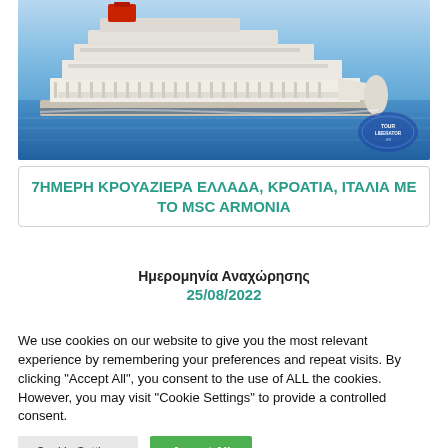[Figure (photo): Large cruise ship MSC Armonia sailing on blue sea against a blue sky, viewed from the side]
7ΗΜΕΡΗ ΚΡΟΥΑΖΙΕΡΑ ΕΛΛΑΔΑ, ΚΡΟΑΤΙΑ, ΙΤΑΛΙΑ ΜΕ ΤΟ MSC ARMONIA
Ημερομηνία Αναχώρησης
25/08/2022
We use cookies on our website to give you the most relevant experience by remembering your preferences and repeat visits. By clicking "Accept All", you consent to the use of ALL the cookies. However, you may visit "Cookie Settings" to provide a controlled consent.